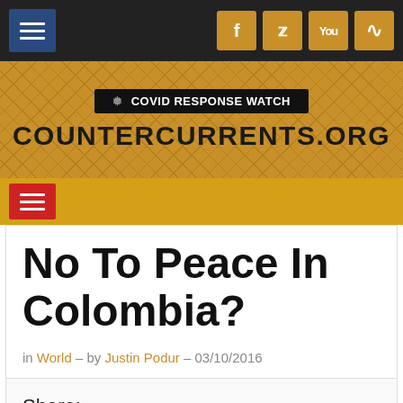[Figure (screenshot): Website header navigation bar with dark background, hamburger menu on left and social media icons (Facebook, Twitter, YouTube, RSS) in gold on right]
[Figure (screenshot): CounterCurrents.org website banner with gold/amber background, COVID Response Watch badge, and site title COUNTERCURRENTS.ORG]
[Figure (screenshot): Yellow navigation bar with red hamburger menu button]
No To Peace In Colombia?
in World – by Justin Podur – 03/10/2016
Share: